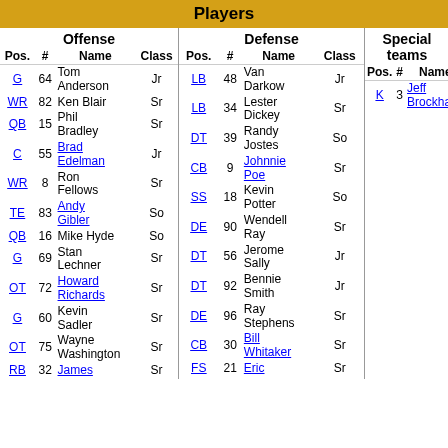Players
| Pos. | # | Name | Class |
| --- | --- | --- | --- |
| G | 64 | Tom Anderson | Jr |
| WR | 82 | Ken Blair | Sr |
| QB | 15 | Phil Bradley | Sr |
| C | 55 | Brad Edelman | Jr |
| WR | 8 | Ron Fellows | Sr |
| TE | 83 | Andy Gibler | So |
| QB | 16 | Mike Hyde | So |
| G | 69 | Stan Lechner | Sr |
| OT | 72 | Howard Richards | Sr |
| G | 60 | Kevin Sadler | Sr |
| OT | 75 | Wayne Washington | Sr |
| RB | 32 | James ... | Sr |
| Pos. | # | Name | Class |
| --- | --- | --- | --- |
| LB | 48 | Van Darkow | Jr |
| LB | 34 | Lester Dickey | Sr |
| DT | 39 | Randy Jostes | So |
| CB | 9 | Johnnie Poe | Sr |
| SS | 18 | Kevin Potter | So |
| DE | 90 | Wendell Ray | Sr |
| DT | 56 | Jerome Sally | Jr |
| DT | 92 | Bennie Smith | Jr |
| DE | 96 | Ray Stephens | Sr |
| CB | 30 | Bill Whitaker | Sr |
| FS | 21 | Eric ... | Sr |
| Pos. | # | Name | C |
| --- | --- | --- | --- |
| K | 3 | Jeff Brockhaus |  |